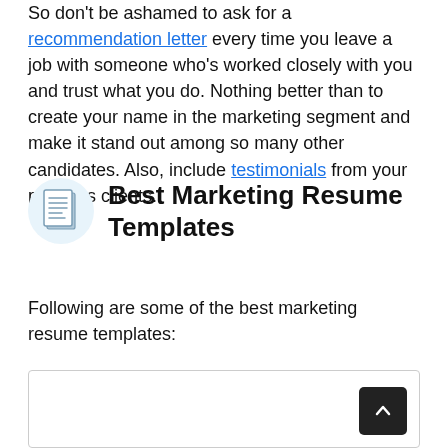So don't be ashamed to ask for a recommendation letter every time you leave a job with someone who's worked closely with you and trust what you do. Nothing better than to create your name in the marketing segment and make it stand out among so many other candidates. Also, include testimonials from your previous clients.
Best Marketing Resume Templates
Following are some of the best marketing resume templates:
[Figure (other): A bordered rectangle representing a resume template placeholder with a scroll-to-top button in the bottom right corner.]